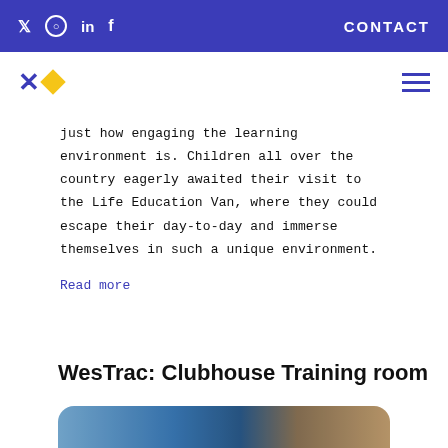social icons: Twitter, Instagram, LinkedIn, Facebook | CONTACT
[Figure (logo): Website logo with blue X and yellow diamond shape, plus hamburger menu icon]
just how engaging the learning environment is. Children all over the country eagerly awaited their visit to the Life Education Van, where they could escape their day-to-day and immerse themselves in such a unique environment.
Read more
WesTrac: Clubhouse Training room
[Figure (photo): Partial photo strip at the bottom of the page]